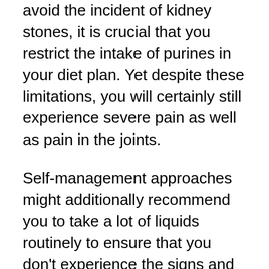avoid the incident of kidney stones, it is crucial that you restrict the intake of purines in your diet plan. Yet despite these limitations, you will certainly still experience severe pain as well as pain in the joints.
Self-management approaches might additionally recommend you to take a lot of liquids routinely to ensure that you don't experience the signs and symptoms of gout. It is additionally recommended that you take sufficient rest daily. Gout is a condition that can cause irreversible damage to the joints specifically the interphalangeal joints. When gout pain strikes you, the ideal means to treat it is to undergo clinical treatment. You can visit your medical professional to ask about offered clinical treatment for gout